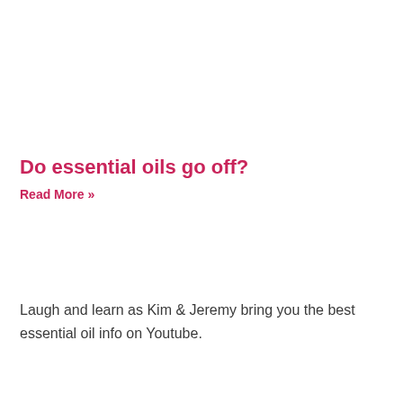Do essential oils go off?
Read More »
Laugh and learn as Kim & Jeremy bring you the best essential oil info on Youtube.